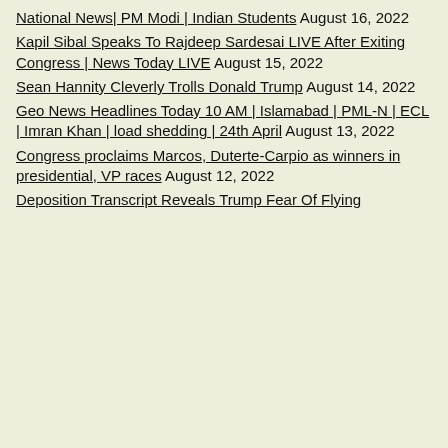National News| PM Modi | Indian Students August 16, 2022
Kapil Sibal Speaks To Rajdeep Sardesai LIVE After Exiting Congress | News Today LIVE August 15, 2022
Sean Hannity Cleverly Trolls Donald Trump August 14, 2022
Geo News Headlines Today 10 AM | Islamabad | PML-N | ECL | Imran Khan | load shedding | 24th April August 13, 2022
Congress proclaims Marcos, Duterte-Carpio as winners in presidential, VP races August 12, 2022
Deposition Transcript Reveals Trump Fear Of Flying August ...